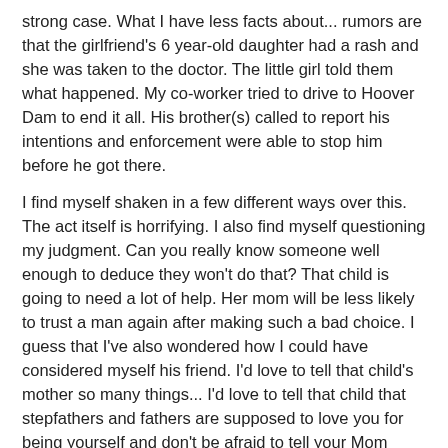strong case. What I have less facts about... rumors are that the girlfriend's 6 year-old daughter had a rash and she was taken to the doctor. The little girl told them what happened. My co-worker tried to drive to Hoover Dam to end it all. His brother(s) called to report his intentions and enforcement were able to stop him before he got there.
I find myself shaken in a few different ways over this. The act itself is horrifying. I also find myself questioning my judgment. Can you really know someone well enough to deduce they won't do that? That child is going to need a lot of help. Her mom will be less likely to trust a man again after making such a bad choice. I guess that I've also wondered how I could have considered myself his friend. I'd love to tell that child's mother so many things... I'd love to tell that child that stepfathers and fathers are supposed to love you for being yourself and don't be afraid to tell your Mom anything. I'd also like to smack my former co-worker around a bit and ask him, "What the hell were you thinking?" I don't think there are any just resolutions after something like this when, even on the outside, you just want it to go away.